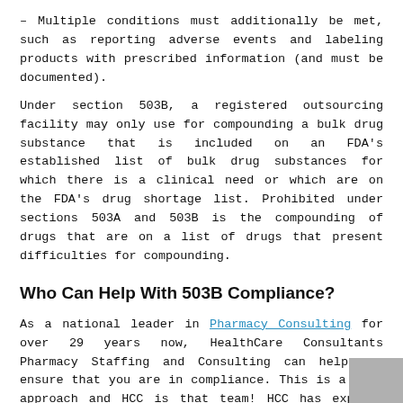– Multiple conditions must additionally be met, such as reporting adverse events and labeling products with prescribed information (and must be documented).
Under section 503B, a registered outsourcing facility may only use for compounding a bulk drug substance that is included on an FDA's established list of bulk drug substances for which there is a clinical need or which are on the FDA's drug shortage list. Prohibited under sections 503A and 503B is the compounding of drugs that are on a list of drugs that present difficulties for compounding.
Who Can Help With 503B Compliance?
As a national leader in Pharmacy Consulting for over 29 years now, HealthCare Consultants Pharmacy Staffing and Consulting can help you ensure that you are in compliance. This is a team approach and HCC is that team! HCC has experts available with many years of experience in pharm